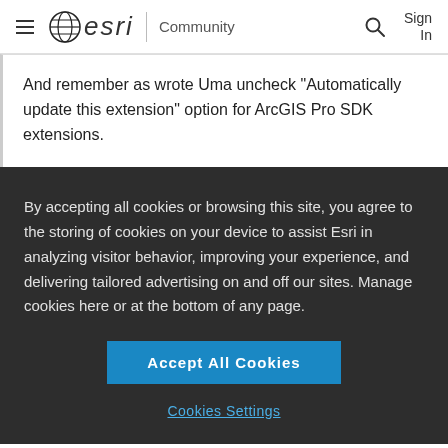esri Community Sign In
And remember as wrote Uma uncheck "Automatically update this extension" option for ArcGIS Pro SDK extensions.
By accepting all cookies or browsing this site, you agree to the storing of cookies on your device to assist Esri in analyzing visitor behavior, improving your experience, and delivering tailored advertising on and off our sites. Manage cookies here or at the bottom of any page.
Accept All Cookies
Cookies Settings